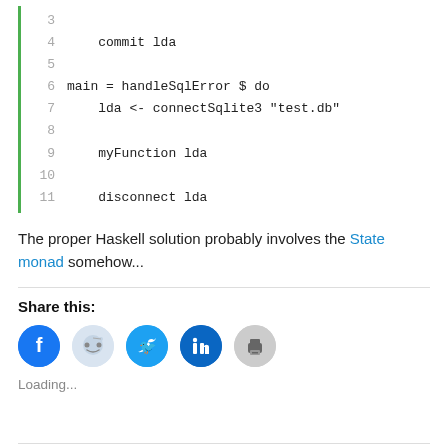[Figure (screenshot): Code block with green left border showing Haskell code, lines 3–11. Line 3 empty, line 4: '    commit lda', line 5 empty, line 6: 'main = handleSqlError $ do', line 7: '    lda <- connectSqlite3 "test.db"', line 8 empty, line 9: '    myFunction lda', line 10 empty, line 11: '    disconnect lda']
The proper Haskell solution probably involves the State monad somehow...
Share this:
[Figure (illustration): Row of five circular social share icons: Facebook (blue), Reddit (light blue), Twitter (blue), LinkedIn (dark blue), Print (gray)]
Loading...